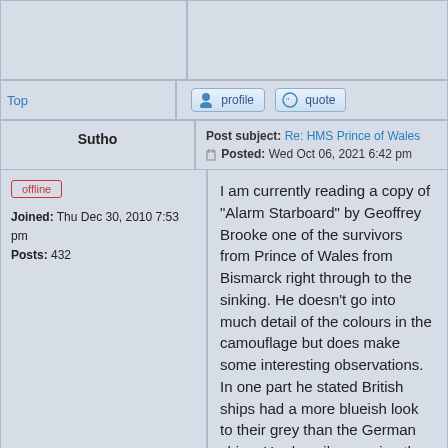Top
profile
quote
Sutho
Post subject: Re: HMS Prince of Wales
Posted: Wed Oct 06, 2021 6:42 pm
offline
Joined: Thu Dec 30, 2010 7:53 pm
Posts: 432
I am currently reading a copy of "Alarm Starboard" by Geoffrey Brooke one of the survivors from Prince of Wales from Bismarck right through to the sinking. He doesn't go into much detail of the colours in the camouflage but does make some interesting observations. In one part he stated British ships had a more blueish look to their grey than the German ships. He describes seeing the antifouling hull of Ark Royal bobbing out of the water looking almost brown.

One interesting point was that Bismarck damage to the ship was never fully repaired in some areas and the compass platform was 'bauw...